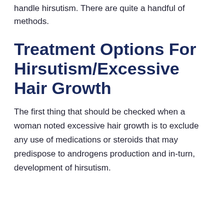handle hirsutism. There are quite a handful of methods.
Treatment Options For Hirsutism/Excessive Hair Growth
The first thing that should be checked when a woman noted excessive hair growth is to exclude any use of medications or steroids that may predispose to androgens production and in-turn, development of hirsutism.